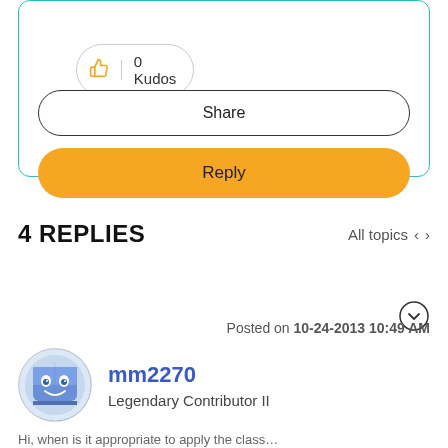[Figure (screenshot): Kudos button showing 0 Kudos with thumbs up icon]
Share
Reply
4 REPLIES
All topics
Posted on 10-24-2013 10:49 AM
mm2270
Legendary Contributor II